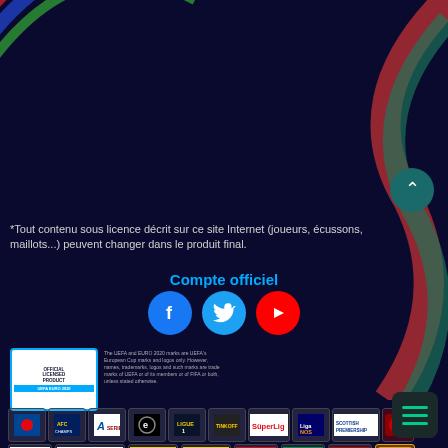[Figure (illustration): Dark navy background with colorful decorative arc curves in teal, red, blue, and green on the top-left corner and right side of the page]
*Tout contenu sous licence décrit sur ce site Internet (joueurs, écussons, maillots...) peuvent changer dans le produit final.
Compte officiel
[Figure (logo): Three social media icons: Facebook (blue circle with f), Twitter (light blue circle with bird), YouTube (red circle with play button)]
[Figure (logo): UEFA EURO 2020 Official Licensed Product badge with small legal text beside it]
[Figure (logo): Row 1 of football league logos: Japan national team, AFC Champions League 2020, Serie A, eFootball (Konami), Ligue 1, Tinkoff (Russian league), SüperLig, Liga NOS, Scottish Premiership, and another logo]
[Figure (logo): Row 2 of football league logos: Saudi Super League, 3F Superliga, Brasileirao 2020 Assai, Brasileirao 2020, Campeonato MxBet, Brasil national, Campeonato nacional, Johan Cruyff Shield]
All names, logos and trophies of UEFA are the property, registered trade marks and/or logos of UEFA and are used herein with the permission of UEFA. No reproduction allowed without the prior written approval of UEFA.  adidas, the 3-Bars logo, the trade mark and Climacool are registered trade marks of the adidas Group, permission. The use of images and names of the football players in this gam